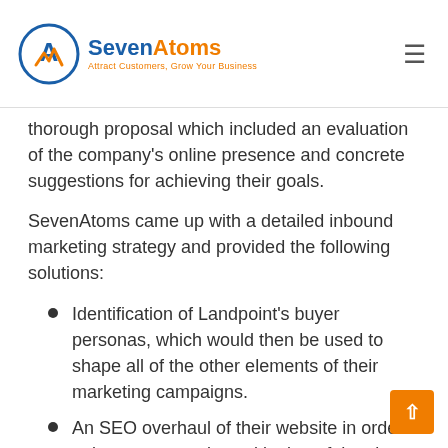SevenAtoms — Attract Customers, Grow Your Business
thorough proposal which included an evaluation of the company's online presence and concrete suggestions for achieving their goals.
SevenAtoms came up with a detailed inbound marketing strategy and provided the following solutions:
Identification of Landpoint's buyer personas, which would then be used to shape all of the other elements of their marketing campaigns.
An SEO overhaul of their website in order to improve organic positioning of the site and better target the oil and gas industry.